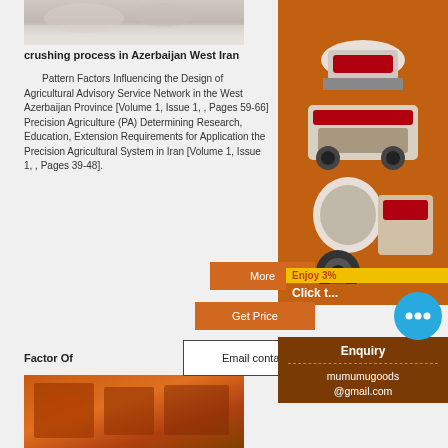[Figure (photo): Top photo of crushed stone or aggregate material, gray/white colored]
crushing process in Azerbaijan West Iran
Pattern Factors Influencing the Design of Agricultural Advisory Service Network in the West Azerbaijan Province [Volume 1, Issue 1, , Pages 59-66] Precision Agriculture (PA) Determining Research, Education, Extension Requirements for Application the Precision Agricultural System in Iran [Volume 1, Issue 1, , Pages 39-48].
[Figure (photo): Sidebar advertisement showing industrial crushing/mining machinery on orange background]
Enjoy 3%
Click t...
Enquiry
mumumugoods@gmail.com
More
Get Price
Email contact
Factor Of
[Figure (photo): Bottom photo showing orange industrial crushing machine]